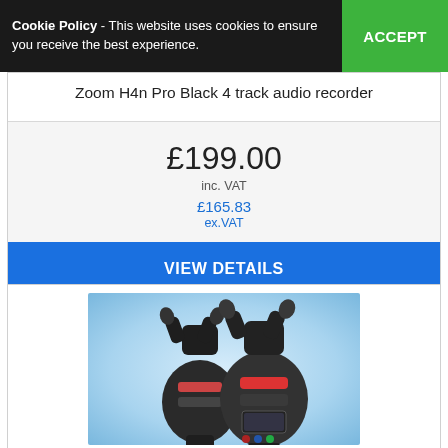Cookie Policy - This website uses cookies to ensure you receive the best experience. ACCEPT
Zoom H4n Pro Black 4 track audio recorder
£199.00
inc. VAT
£165.83
ex.VAT
VIEW DETAILS
[Figure (photo): Two Zoom H6 Handy Recorder units shown from front and back on a light blue gradient background]
Zoom H6 Handy Recor...